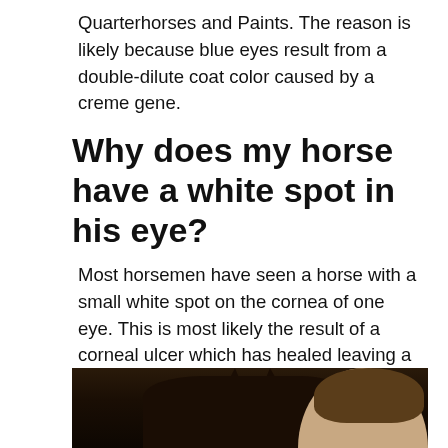Quarterhorses and Paints. The reason is likely because blue eyes result from a double-dilute coat color caused by a creme gene.
Why does my horse have a white spot in his eye?
Most horsemen have seen a horse with a small white spot on the cornea of one eye. This is most likely the result of a corneal ulcer which has healed leaving a permanent scar. Fortunately, these small scars do not affect a horses vision a great deal.
[Figure (photo): Close-up photo of a dark horse's head with a person's face visible on the right side]